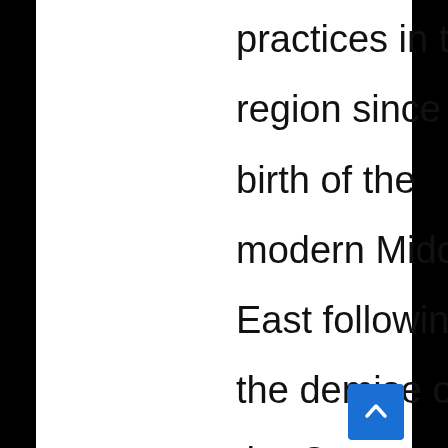practices in the region since the birth of the modern Middle East following the demise of the Ottoman Empire. Rivalries have continued to shape regional politics for decades and the Arab Spring has contributed